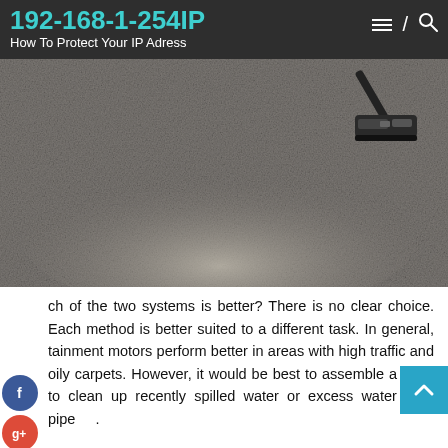192-168-1-254IP
How To Protect Your IP Adress
[Figure (photo): Overhead view of a grey/beige carpet being vacuumed, with a vacuum cleaner head visible in the upper right corner and a lighter cleaned path visible.]
ch of the two systems is better? There is no clear choice. Each method is better suited to a different task. In general, tainment motors perform better in areas with high traffic and oily carpets. However, it would be best to assemble a k to clean up recently spilled water or excess water from pipe.